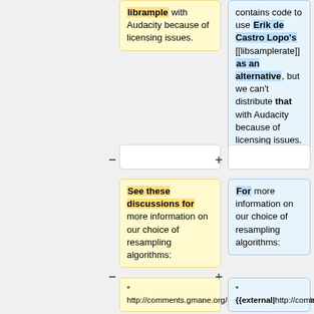librample with Audacity because of licensing issues.
contains code to use Erik de Castro Lopo's [[libsamplerate]] as an alternative, but we can't distribute that with Audacity because of licensing issues.
See these discussions for more information on our choice of resampling algorithms:
For more information on our choice of resampling algorithms:
* http://comments.gmane.org/gmane.comp.audio.audacity.devel/4320
* {{external|http://comments.gmane.org/gmane.comp.audio.audacity.devel/4320}}